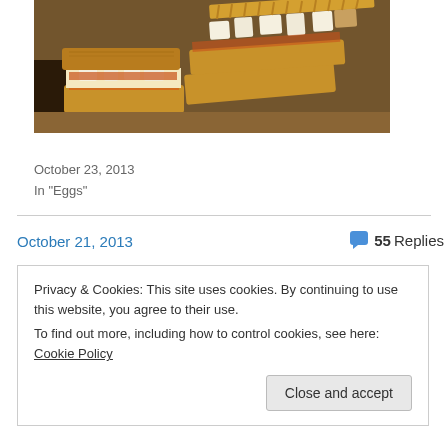[Figure (photo): Close-up photo of an egg salad sandwich cut in half on a wooden cutting board, with hard-boiled egg chunks and orange sauce visible between toasted bread slices, and ridged potato chips on top.]
Not Your Grandma's Egg Salad
October 23, 2013
In "Eggs"
October 21, 2013
55 Replies
Privacy & Cookies: This site uses cookies. By continuing to use this website, you agree to their use.
To find out more, including how to control cookies, see here: Cookie Policy
Close and accept